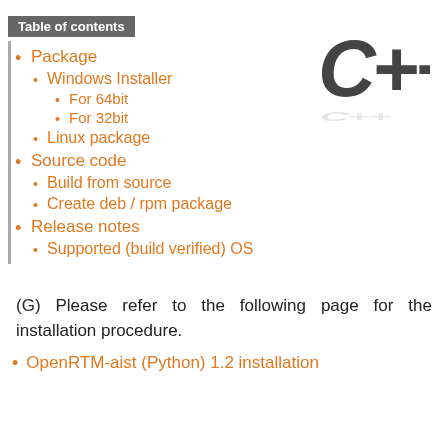Table of contents
Package
Windows Installer
For 64bit
For 32bit
Linux package
Source code
Build from source
Create deb / rpm package
Release notes
Supported (build verified) OS
[Figure (logo): C++ logo in large bold italic text]
(G) Please refer to the following page for the installation procedure.
OpenRTM-aist (Python) 1.2 installation